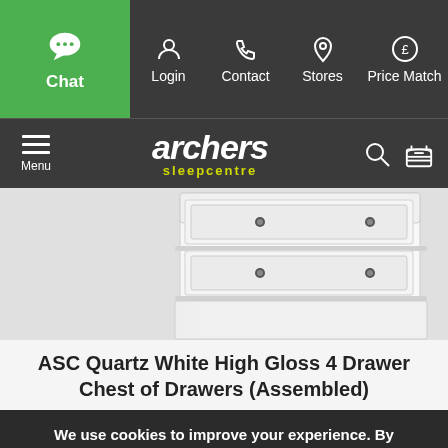Chat | Login | Contact | Stores | Price Match
[Figure (logo): Archers Sleepcentre logo with hamburger menu, search icon, and basket icon on dark background]
[Figure (photo): ASC Quartz White High Gloss 4 Drawer Chest of Drawers product photo showing white gloss drawers with chrome handles]
ASC Quartz White High Gloss 4 Drawer Chest of Drawers (Assembled)
We use cookies to improve your experience. By continuing you agree to the use of our cookies.
ACCEPT AND CLOSE